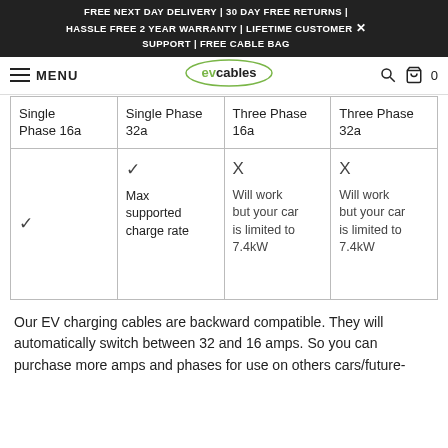FREE NEXT DAY DELIVERY | 30 DAY FREE RETURNS | HASSLE FREE 2 YEAR WARRANTY | LIFETIME CUSTOMER SUPPORT | FREE CABLE BAG
MENU | evcables | 0
| Single Phase 16a | Single Phase 32a | Three Phase 16a | Three Phase 32a |
| --- | --- | --- | --- |
| ✓ | ✓
Max supported charge rate | X
Will work but your car is limited to 7.4kW | X
Will work but your car is limited to 7.4kW |
Our EV charging cables are backward compatible. They will automatically switch between 32 and 16 amps. So you can purchase more amps and phases for use on others cars/future-